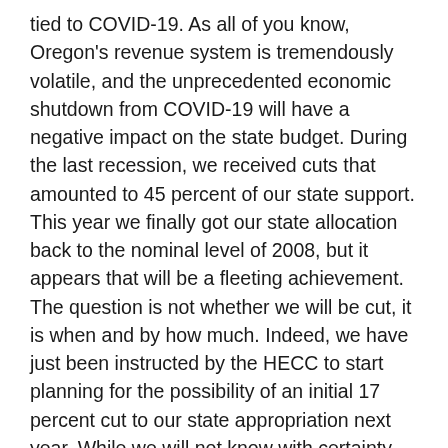tied to COVID-19. As all of you know, Oregon's revenue system is tremendously volatile, and the unprecedented economic shutdown from COVID-19 will have a negative impact on the state budget. During the last recession, we received cuts that amounted to 45 percent of our state support. This year we finally got our state allocation back to the nominal level of 2008, but it appears that will be a fleeting achievement. The question is not whether we will be cut, it is when and by how much. Indeed, we have just been instructed by the HECC to start planning for the possibility of an initial 17 percent cut to our state appropriation next year. While we will not know with certainty the exact size of next year's cut until the legislature meets, this direction gives us some sense of the likely magnitude.
As we look at the potential challenges posed by enrollment and state funding, the UO is starting from a